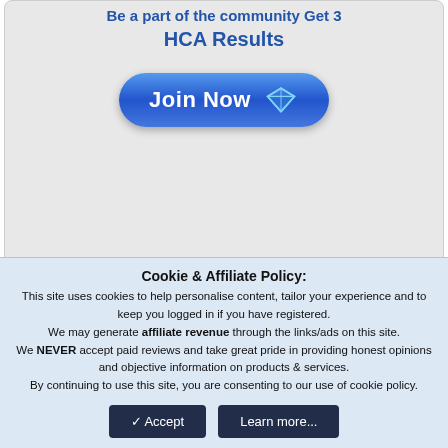Be a part of the community Get 3
HCA Results
[Figure (illustration): Blue Join Now button with diamond icon]
Jewelry Blog
Cookie & Affiliate Policy: This site uses cookies to help personalise content, tailor your experience and to keep you logged in if you have registered. We may generate affiliate revenue through the links/ads on this site. We NEVER accept paid reviews and take great pride in providing honest opinions and objective information on products & services. By continuing to use this site, you are consenting to our use of cookie policy.
Accept | Learn more...